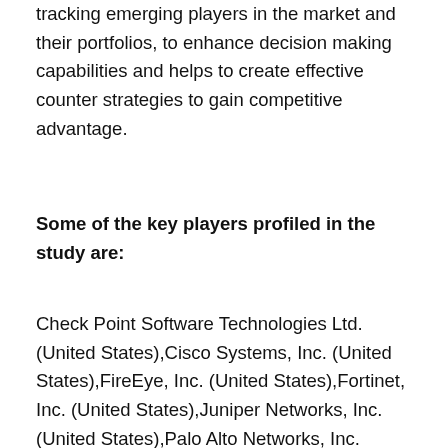tracking emerging players in the market and their portfolios, to enhance decision making capabilities and helps to create effective counter strategies to gain competitive advantage.
Some of the key players profiled in the study are:
Check Point Software Technologies Ltd. (United States),Cisco Systems, Inc. (United States),FireEye, Inc. (United States),Fortinet, Inc. (United States),Juniper Networks, Inc. (United States),Palo Alto Networks, Inc. (California, US),Sophos Ltd. (Oxfordshire,